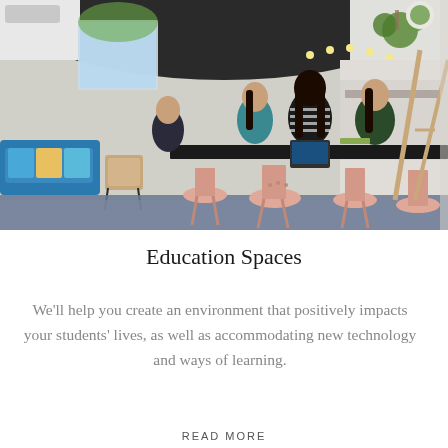[Figure (photo): Interior photo of a modern education space with students sitting at a long dark counter on pink bar stools, working on laptops. The room has a distinctive dark curved ceiling panel, blue carpet, teal sofa seating area on the left, warm-toned chairs, and hanging plants.]
Education Spaces
We'll help you create an environment that positively impacts your students' lives, as well as accommodating new technology and ways of learning.
READ MORE